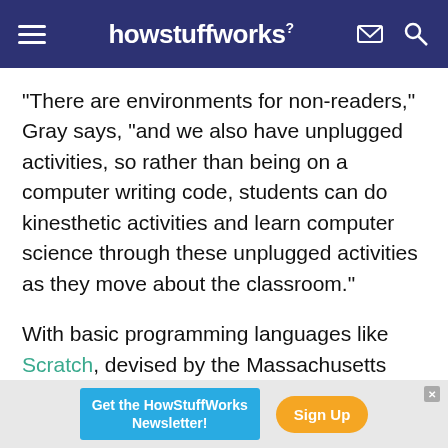howstuffworks
"There are environments for non-readers," Gray says, "and we also have unplugged activities, so rather than being on a computer writing code, students can do kinesthetic activities and learn computer science through these unplugged activities as they move about the classroom."
With basic programming languages like Scratch, devised by the Massachusetts Institute of Technology, to teach more young children the roots
[Figure (other): Advertisement banner: 'Get the HowStuffWorks Newsletter!' with a blue background and an orange 'Sign Up' button]